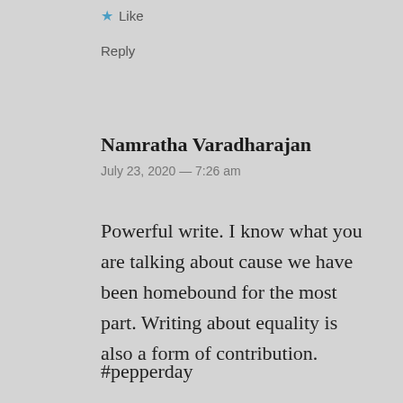Like
Reply
Namratha Varadharajan July 23, 2020 — 7:26 am
Powerful write. I know what you are talking about cause we have been homebound for the most part. Writing about equality is also a form of contribution.
#pepperday